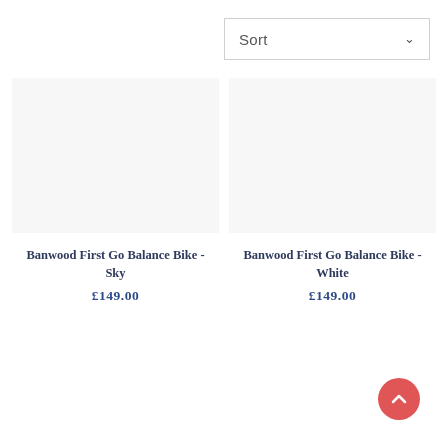Sort
Banwood First Go Balance Bike - Sky £149.00
Banwood First Go Balance Bike - White £149.00